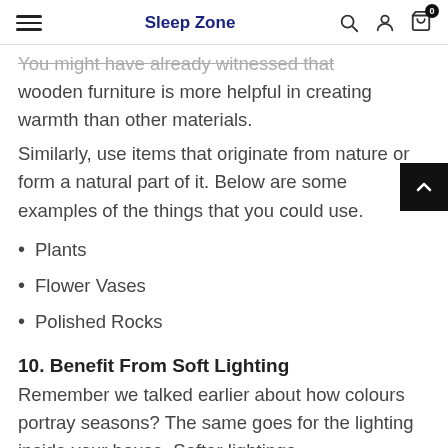Sleep Zone
You might have already witnessed that wooden furniture is more helpful in creating warmth than other materials.
Similarly, use items that originate from nature or form a natural part of it. Below are some examples of the things that you could use.
Plants
Flower Vases
Polished Rocks
10. Benefit From Soft Lighting
Remember we talked earlier about how colours portray seasons? The same goes for the lighting inside your house. Softer lightings will help create a cosier environment and...